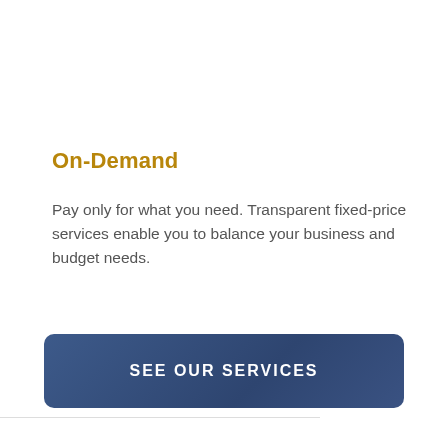On-Demand
Pay only for what you need. Transparent fixed-price services enable you to balance your business and budget needs.
SEE OUR SERVICES